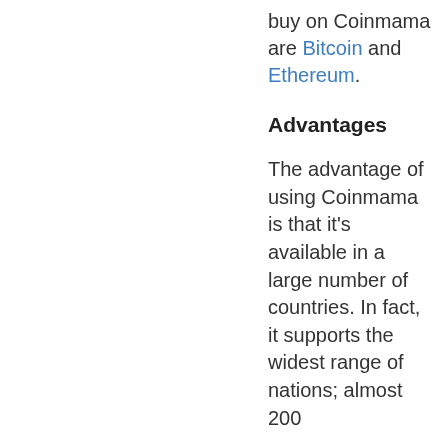buy on Coinmama are Bitcoin and Ethereum.
Advantages
The advantage of using Coinmama is that it's available in a large number of countries. In fact, it supports the widest range of nations; almost 200